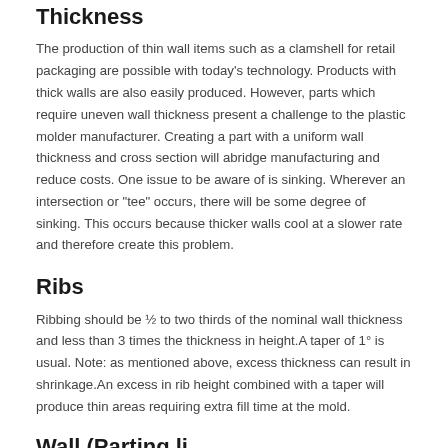Thickness
The production of thin wall items such as a clamshell for retail packaging are possible with today’s technology. Products with thick walls are also easily produced. However, parts which require uneven wall thickness present a challenge to the plastic molder manufacturer. Creating a part with a uniform wall thickness and cross section will abridge manufacturing and reduce costs. One issue to be aware of is sinking. Wherever an intersection or “tee” occurs, there will be some degree of sinking. This occurs because thicker walls cool at a slower rate and therefore create this problem.
Ribs
Ribbing should be ½ to two thirds of the nominal wall thickness and less than 3 times the thickness in height.A taper of 1° is usual. Note: as mentioned above, excess thickness can result in shrinkage.An excess in rib height combined with a taper will produce thin areas requiring extra fill time at the mold.
Wall (Parting)